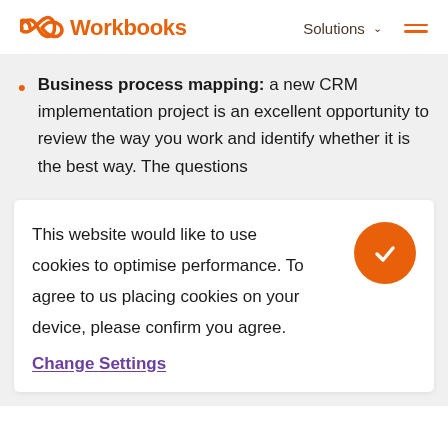Workbooks | Solutions
Business process mapping: a new CRM implementation project is an excellent opportunity to review the way you work and identify whether it is the best way. The questions
This website would like to use cookies to optimise performance. To agree to us placing cookies on your device, please confirm you agree.
Change Settings